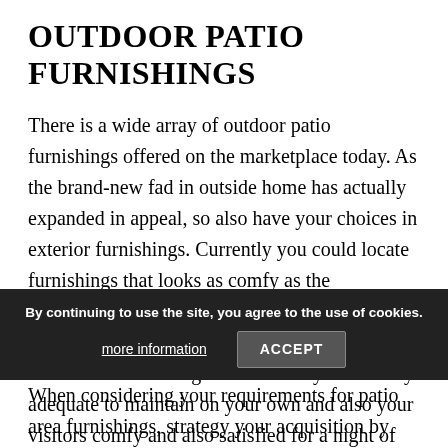OUTDOOR PATIO FURNISHINGS
There is a wide array of outdoor patio furnishings offered on the marketplace today. As the brand-new fad in outside home has actually expanded in appeal, so also have your choices in exterior furnishings. Currently you could locate furnishings that looks as comfy as the furnishings in your living-room. The furnishings you include in your brand-new living location must look welcoming and also really feel comfy adequate to maintain on your own and also your visitors comfy and also satisfied for a night of leisure.
By continuing to use the site, you agree to the use of cookies.
more information
ACCEPT
When considering your requirements for patio area furnishings, strategy your acquisition by intending the